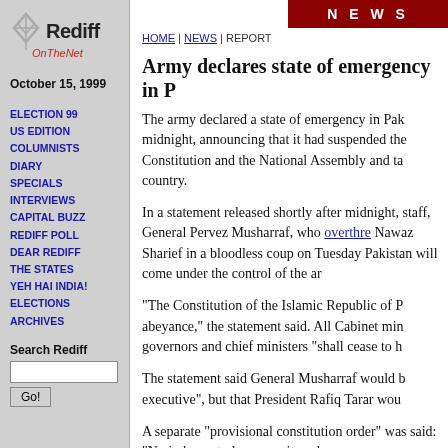[Figure (logo): Rediff On The Net logo with kite icon]
October 15, 1999
ELECTION 99
US EDITION
COLUMNISTS
DIARY
SPECIALS
INTERVIEWS
CAPITAL BUZZ
REDIFF POLL
DEAR REDIFF
THE STATES
YEH HAI INDIA!
ELECTIONS
ARCHIVES
Search Rediff
NEWS
HOME | NEWS | REPORT
Army declares state of emergency in P
The army declared a state of emergency in Pak midnight, announcing that it had suspended the Constitution and the National Assembly and ta country.
In a statement released shortly after midnight, staff, General Pervez Musharraf, who overthre Nawaz Sharief in a bloodless coup on Tuesday Pakistan will come under the control of the ar
"The Constitution of the Islamic Republic of P abeyance," the statement said. All Cabinet min governors and chief ministers "shall cease to h
The statement said General Musharraf would b executive", but that President Rafiq Tarar wou
A separate "provisional constitution order" was said: "No judgment, decree, writ, order or pre